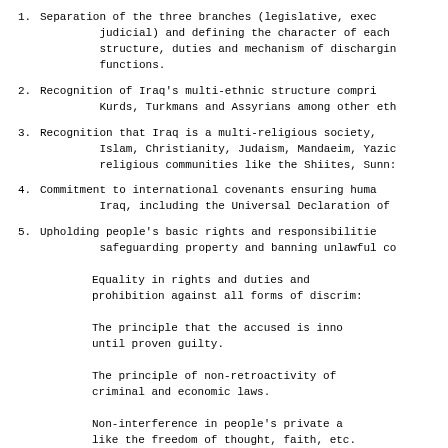1. Separation of the three branches (legislative, executive, judicial) and defining the character of each structure, duties and mechanism of discharging functions.
2. Recognition of Iraq's multi-ethnic structure comprising Kurds, Turkmans and Assyrians among other ethnic groups.
3. Recognition that Iraq is a multi-religious society, comprising Islam, Christianity, Judaism, Mandaeim, Yazidism and religious communities like the Shiites, Sunnis.
4. Commitment to international covenants ensuring human rights in Iraq, including the Universal Declaration of Human Rights.
5. Upholding people's basic rights and responsibilities, safeguarding property and banning unlawful confiscation.

Equality in rights and duties and prohibition against all forms of discrimination.

The principle that the accused is innocent until proven guilty.

The principle of non-retroactivity of criminal and economic laws.

Non-interference in people's private affairs, like the freedom of thought, faith, etc.